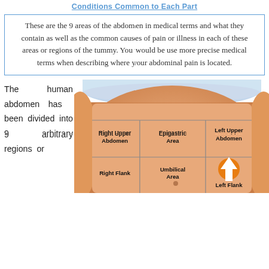Conditions Common to Each Part
These are the 9 areas of the abdomen in medical terms and what they contain as well as the common causes of pain or illness in each of these areas or regions of the tummy. You would be use more precise medical terms when describing where your abdominal pain is located.
The human abdomen has been divided into 9 arbitrary regions or
[Figure (illustration): Anatomical illustration of a human abdomen divided into 9 regions: Right Upper Abdomen, Epigastric Area, Left Upper Abdomen, Right Flank, Umbilical Area, Left Flank. The abdomen grid shows labeled sections overlaid on a photo of a human torso. A large orange arrow points up near the Left Flank region.]